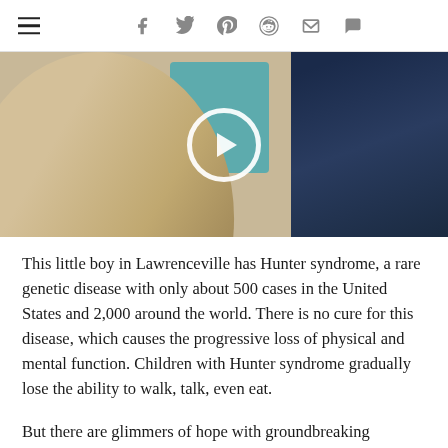☰ [social icons: facebook, twitter, pinterest, reddit, email, comment]
[Figure (photo): A medical or caregiving scene showing a woman with long blonde hair in a white top, a child in a teal shirt, and a man in a dark navy blue striped shirt. A play button circle overlay is visible in the center, indicating this is a video thumbnail.]
This little boy in Lawrenceville has Hunter syndrome, a rare genetic disease with only about 500 cases in the United States and 2,000 around the world. There is no cure for this disease, which causes the progressive loss of physical and mental function. Children with Hunter syndrome gradually lose the ability to walk, talk, even eat.
But there are glimmers of hope with groundbreaking research and potentially life-saving